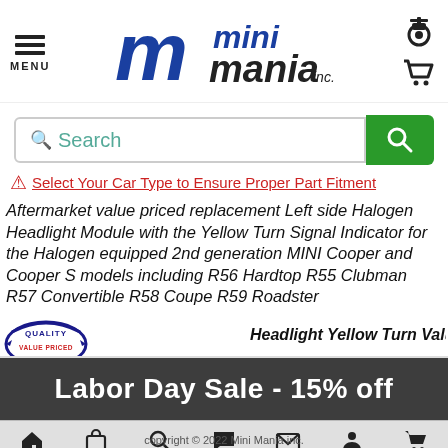[Figure (logo): Mini Mania Inc. logo with stylized blue M and bold text]
[Figure (screenshot): Search bar with green search button]
Select Your Car Type to Ensure Proper Part Fitment
Aftermarket value priced replacement Left side Halogen Headlight Module with the Yellow Turn Signal Indicator for the Halogen equipped 2nd generation MINI Cooper and Cooper S models including R56 Hardtop R55 Clubman R57 Convertible R58 Coupe R59 Roadster
[Figure (logo): Quality Value Priced badge/seal]
Labor Day Sale - 15% off
copyright © 2022 Mini Mania inc.